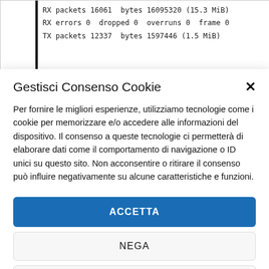RX packets 16061  bytes 16095320 (15.3 MiB)
RX errors 0  dropped 0  overruns 0  frame 0
TX packets 12337  bytes 1597446 (1.5 MiB)
Gestisci Consenso Cookie
Per fornire le migliori esperienze, utilizziamo tecnologie come i cookie per memorizzare e/o accedere alle informazioni del dispositivo. Il consenso a queste tecnologie ci permetterà di elaborare dati come il comportamento di navigazione o ID unici su questo sito. Non acconsentire o ritirare il consenso può influire negativamente su alcune caratteristiche e funzioni.
ACCETTA
NEGA
VISUALIZZA LE PREFERENZE
Cookie e Privacy